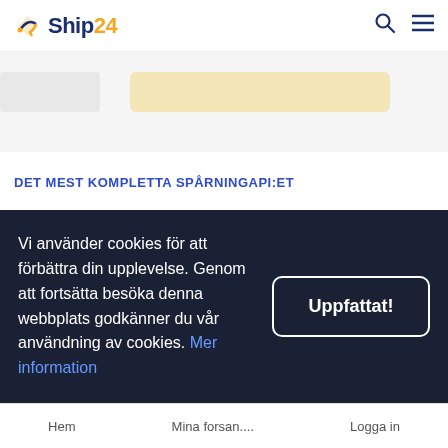Ship24
[Figure (screenshot): Partial hero section showing a search/tracking input UI with a light gray input on the left and a beige/yellow wider input on the right, on a white background.]
DET MEST KOMPLETTA SPÅRNINGAPI:ET
Ship24 erår...
Vi använder cookies för att förbättra din upplevelse. Genom att fortsätta besöka denna webbplats godkänner du vår användning av cookies. Mer information
Hem   Mina forsan....   Logga in